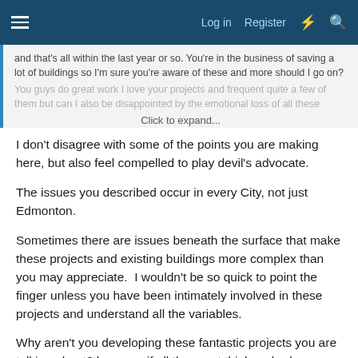Log in  Register
and that's all within the last year or so. You're in the business of saving a lot of buildings so I'm sure you're aware of these and more should I go on?
You guys do great work I love your projects and frequent quite a few of them but can I also be disappointed by the emotional loss of all these
Click to expand...
I don't disagree with some of the points you are making here, but also feel compelled to play devil's advocate.
The issues you described occur in every City, not just Edmonton.
Sometimes there are issues beneath the surface that make these projects and existing buildings more complex than you may appreciate. I wouldn't be so quick to point the finger unless you have been intimately involved in these projects and understand all the variables.
Why aren't you developing these fantastic projects you are talking about? because if all the great thinkers had an answer it would be...